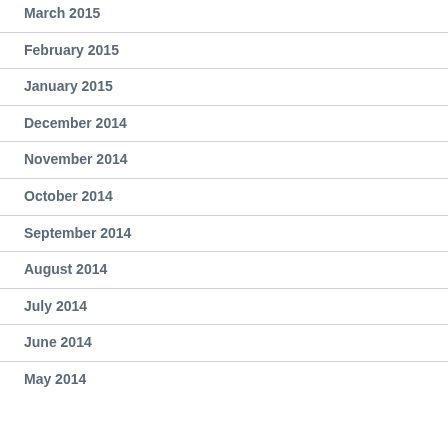March 2015
February 2015
January 2015
December 2014
November 2014
October 2014
September 2014
August 2014
July 2014
June 2014
May 2014